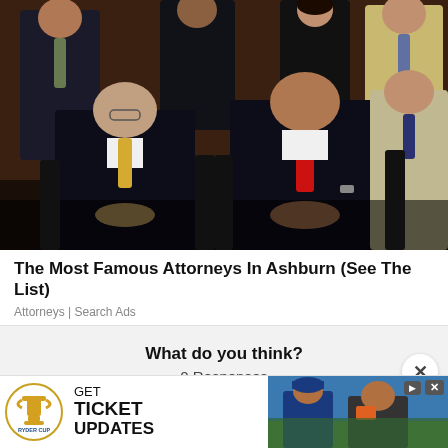[Figure (photo): Group photo of attorneys in formal suits seated and standing, professional law firm portrait]
The Most Famous Attorneys In Ashburn (See The List)
Attorneys | Search Ads
What do you think?
0 Responses
[Figure (photo): Ryder Cup advertisement banner with logo showing GET TICKET UPDATES text and golfer photos]